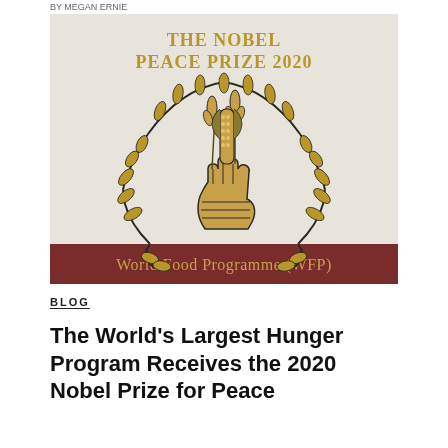BY MEGAN ERNIE
[Figure (photo): Nobel Peace Prize 2020 award display sign featuring the World Food Programme (WFP) logo — a hand holding wheat stalks and corn, encircled by olive branches — on a light background with a dark red/maroon banner at the bottom reading 'World Food Programme (WFP)'. Gold text at the top reads 'THE NOBEL PEACE PRIZE 2020'.]
BLOG
The World's Largest Hunger Program Receives the 2020 Nobel Prize for Peace